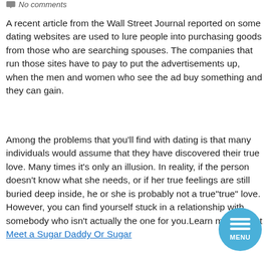No comments
A recent article from the Wall Street Journal reported on some dating websites are used to lure people into purchasing goods from those who are searching spouses. The companies that run those sites have to pay to put the advertisements up, when the men and women who see the ad buy something and they can gain.
Among the problems that you’ll find with dating is that many individuals would assume that they have discovered their true love. Many times it’s only an illusion. In reality, if the person doesn’t know what she needs, or if her true feelings are still buried deep inside, he or she is probably not a true“true” love. However, you can find yourself stuck in a relationship with somebody who isn’t actually the one for you.Learn more about Meet a Sugar Daddy Or Sugar